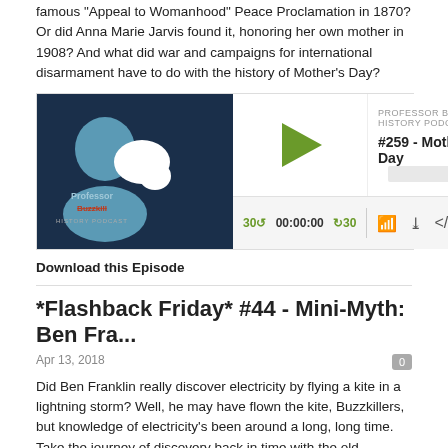famous "Appeal to Womanhood" Peace Proclamation in 1870? Or did Anna Marie Jarvis found it, honoring her own mother in 1908? And what did war and campaigns for international disarmament have to do with the history of Mother's Day?
[Figure (screenshot): Podcast player widget for Professor Buzzkill History Podcast episode #259 - Mother's Day]
Download this Episode
*Flashback Friday* #44 - Mini-Myth: Ben Fra...
Apr 13, 2018
Did Ben Franklin really discover electricity by flying a kite in a lightning storm? Well, he may have flown the kite, Buzzkillers, but knowledge of electricity's been around a long, long time. Take the journey of discovery back in time with the old Professor.
[Figure (screenshot): Podcast player widget for Professor Buzzkill History Podcast episode *Flashback Friday* #44 - Mini-My...]